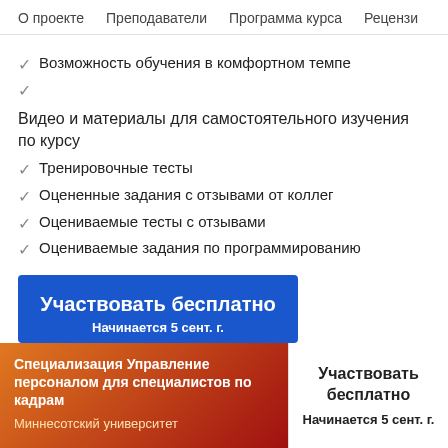О проекте   Преподаватели   Программа курса   Рецензи
✓ Возможность обучения в комфортном темпе
✓
Видео и материалы для самостоятельного изучения по курсу
✓ Тренировочные тесты
✓ Оцененные задания с отзывами от коллег
✓ Оцениваемые тесты с отзывами
✓ Оцениваемые задания по программированию
Участвовать бесплатно
Начинается 5 сент. г.
Специализация Управление персоналом для специалистов по кадрам
Миннесотский университет
Участвовать бесплатно
Начинается 5 сент. г.